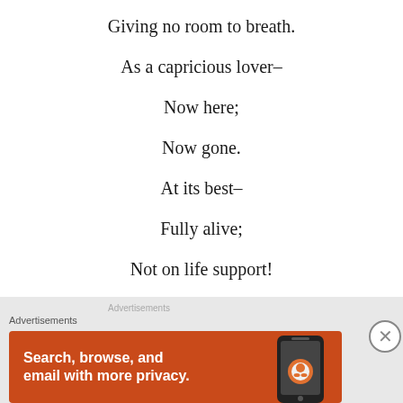Giving no room to breath.
As a capricious lover–
Now here;
Now gone.
At its best–
Fully alive;
Not on life support!
Exuding hearty warmth–
Advertisements
[Figure (other): Advertisement banner: orange background with text 'Search, browse, and email with more privacy.' and a DuckDuckGo logo/phone image on the right.]